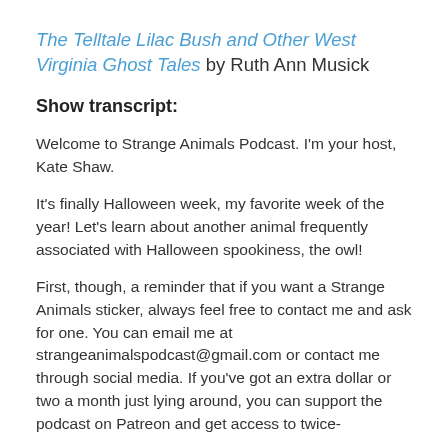The Telltale Lilac Bush and Other West Virginia Ghost Tales by Ruth Ann Musick
Show transcript:
Welcome to Strange Animals Podcast. I'm your host, Kate Shaw.
It's finally Halloween week, my favorite week of the year! Let's learn about another animal frequently associated with Halloween spookiness, the owl!
First, though, a reminder that if you want a Strange Animals sticker, always feel free to contact me and ask for one. You can email me at strangeanimalspodcast@gmail.com or contact me through social media. If you've got an extra dollar or two a month just lying around, you can support the podcast on Patreon and get access to twice-